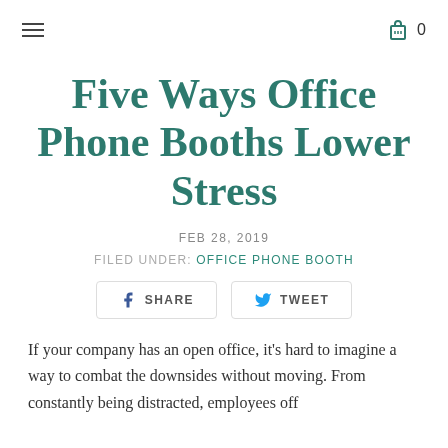≡  🛒 0
Five Ways Office Phone Booths Lower Stress
FEB 28, 2019
FILED UNDER: OFFICE PHONE BOOTH
SHARE   TWEET
If your company has an open office, it's hard to imagine a way to combat the downsides without moving. From constantly being distracted, employees off...